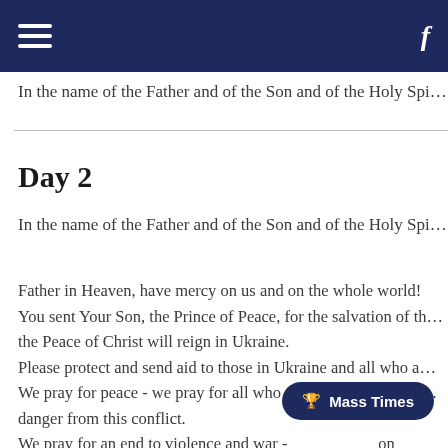In the name of the Father and of the Son and of the Holy Spi…
Day 2
In the name of the Father and of the Son and of the Holy Spi…
Father in Heaven, have mercy on us and on the whole world! You sent Your Son, the Prince of Peace, for the salvation of the… the Peace of Christ will reign in Ukraine. Please protect and send aid to those in Ukraine and all who a… We pray for peace - we pray for all who are working towards… danger from this conflict. We pray for an end to violence and war -… a hand in this.